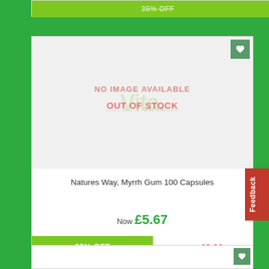[Figure (screenshot): E-commerce product listing page snippet showing a product card for 'Natures Way, Myrrh Gum 100 Capsules' with no image available, out of stock status, price Now £5.67, Was £8.33, 32% OFF discount badge. Green background with white product card. Feedback tab visible on right side.]
NO IMAGE AVAILABLE
OUT OF STOCK
Natures Way, Myrrh Gum 100 Capsules
Now £5.67
32% OFF
Was £8.33
Feedback